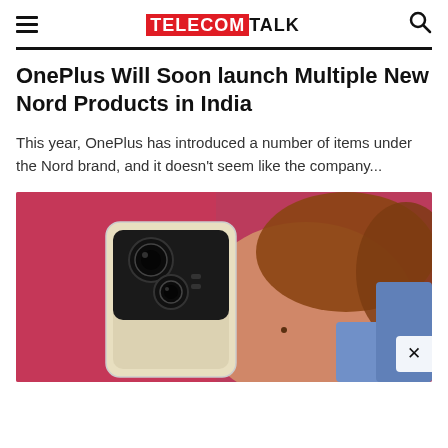TELECOMTALK
OnePlus Will Soon launch Multiple New Nord Products in India
This year, OnePlus has introduced a number of items under the Nord brand, and it doesn't seem like the company...
[Figure (photo): A person lying down holding a OnePlus Nord smartphone with a dual-camera module visible, against a pink and blue background.]